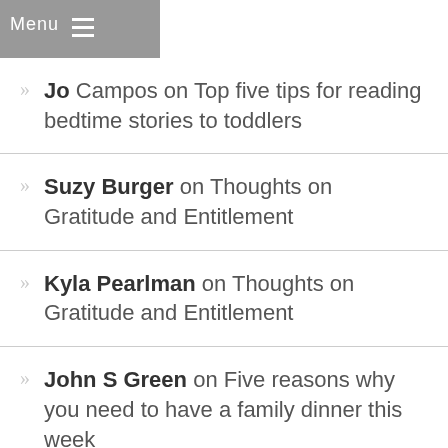Menu
Jo Campos on Top five tips for reading bedtime stories to toddlers
Suzy Burger on Thoughts on Gratitude and Entitlement
Kyla Pearlman on Thoughts on Gratitude and Entitlement
John S Green on Five reasons why you need to have a family dinner this week
Suzy Burger on The spectrum of helping your child to sleep